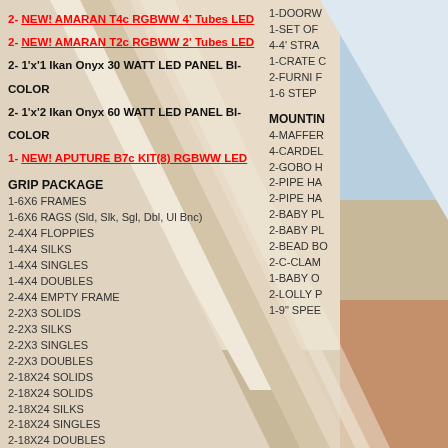2- NEW! AMARAN T4c RGBWW 4' Tubes LED
2- NEW! AMARAN T2c RGBWW 2' Tubes LED
2- 1'x'1 Ikan Onyx 30 WATT LED PANEL BI-COLOR
2- 1'x'2 Ikan Onyx 60 WATT LED PANEL BI-COLOR
1- NEW! APUTURE B7c KIT(8) RGBWW LED
GRIP PACKAGE
1-6X6 FRAMES
1-6X6 RAGS (Sld, Slk, Sgl, Dbl, Ul Bnc)
2-4X4 FLOPPIES
1-4X4 SILKS
1-4X4 SINGLES
1-4X4 DOUBLES
2-4X4 EMPTY FRAME
2-2X3 SOLIDS
2-2X3 SILKS
2-2X3 SINGLES
2-2X3 DOUBLES
2-18X24 SOLIDS
2-18X24 SOLIDS
2-18X24 SILKS
2-18X24 SINGLES
2-18X24 DOUBLES
1-SOFT BOX SMALL (12x36) BOWENS MOUNT
1-SOFT BOX MED (24X36) BOWENS MOUNT
1-DOORW
1-SET OF
4-4' STRA
1-CRATE C
2-FURNI F
1-6 STEP
MOUNTING
4-MAFFER
4-CARDEL
2-GOBO H
2-PIPE HA
2-PIPE HA
2-BABY PL
2-BABY PL
2-BEAD BO
2-C-CLAM
1-BABY O
2-LOLLY P
1-9" SPEE